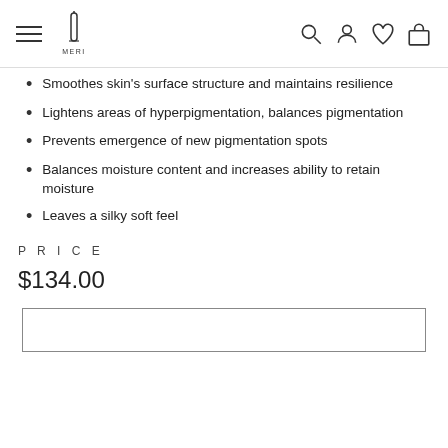MERI (logo with hamburger menu and icons)
Smoothes skin's surface structure and maintains resilience
Lightens areas of hyperpigmentation, balances pigmentation
Prevents emergence of new pigmentation spots
Balances moisture content and increases ability to retain moisture
Leaves a silky soft feel
PRICE
$134.00